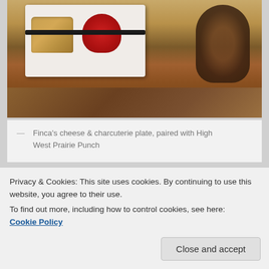[Figure (photo): A white plate with bread/cheese items and red preserve/jam, alongside a dark glass, on a wooden table surface. Partially cropped from top.]
— Finca's cheese & charcuterie plate, paired with High West Prairie Punch
Last night Salt Lake City experienced a small but powerful bit of wonder that I couldn't have envisioned ten– maybe even five– years ago:  60+ guests gleefully paid for the opportunity to sample Utah-made whiskeys paired with a delightful small-plates tasting menu.
Privacy & Cookies: This site uses cookies. By continuing to use this website, you agree to their use.
To find out more, including how to control cookies, see here: Cookie Policy